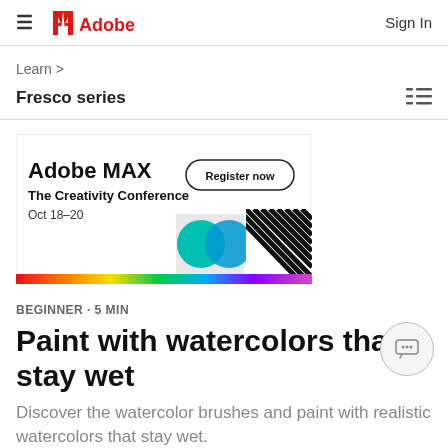≡  Adobe  Sign In
Learn >
Fresco series
[Figure (illustration): Adobe MAX – The Creativity Conference advertisement banner. Text: 'Adobe MAX The Creativity Conference Oct 18–20' with a 'Register now' button and colorful geometric design with rainbow stripe at bottom and black-white diagonal pattern.]
BEGINNER · 5 MIN
Paint with watercolors that stay wet
Discover the watercolor brushes and paint with realistic watercolors that stay wet.